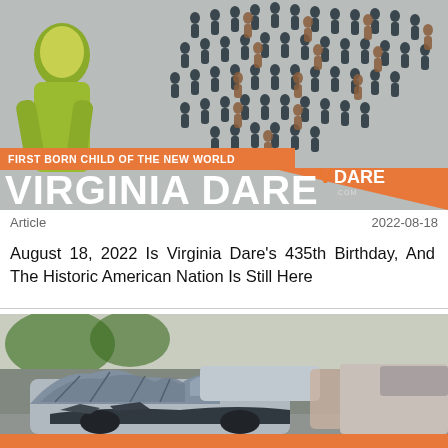[Figure (infographic): VDARE banner showing a green-tinted statue/figure on left, crowd of person icons in US map shape on right, orange bar with text 'FIRST BORN CHILD OF THE NEW WORLD', large white text 'VIRGINIA DARE', and VDARE logo in orange/white]
Article	2022-08-18
August 18, 2022 Is Virginia Dare’s 435th Birthday, And The Historic American Nation Is Still Here
[Figure (photo): Photo of a severely damaged/wrecked silver car with crumpled hood and front end destroyed, appears to be aftermath of a serious collision]